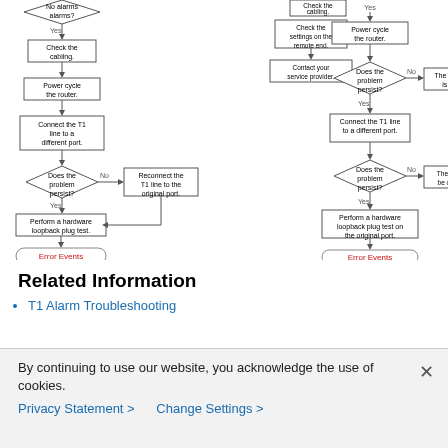[Figure (flowchart): Two-column troubleshooting flowchart for T1 line issues. Left column: Check the cabling → Power cycle the router → Connect the T1 line to a different port → Does the problem persist? (No: Reconnect the T1 line to the original port; Yes:) → Perform a hardware loopback plug test → Error Events. Right column: Power cycle the router → Does the problem persist? (No: The problem is fixed; Yes:) → Connect the T1 line to a different port → Does the problem persist? (No: The port may be defective; Yes:) → Perform a hardware loopback plug test on the original port → Error Events. Also shows partial top elements: No alarms? / Check cabling / Check the settings on the remote end / Contact your service provider.]
Related Information
T1 Alarm Troubleshooting
By continuing to use our website, you acknowledge the use of cookies.
Privacy Statement > Change Settings >